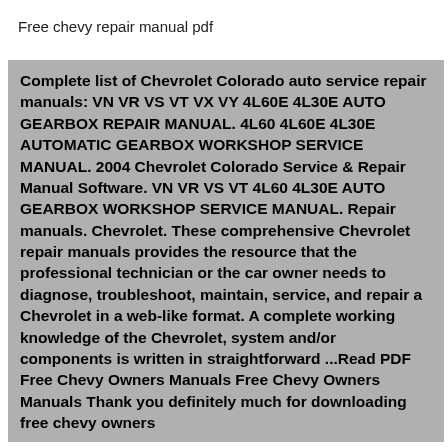Free chevy repair manual pdf
Complete list of Chevrolet Colorado auto service repair manuals: VN VR VS VT VX VY 4L60E 4L30E AUTO GEARBOX REPAIR MANUAL. 4L60 4L60E 4L30E AUTOMATIC GEARBOX WORKSHOP SERVICE MANUAL. 2004 Chevrolet Colorado Service & Repair Manual Software. VN VR VS VT 4L60 4L30E AUTO GEARBOX WORKSHOP SERVICE MANUAL. Repair manuals. Chevrolet. These comprehensive Chevrolet repair manuals provides the resource that the professional technician or the car owner needs to diagnose, troubleshoot, maintain, service, and repair a Chevrolet in a web-like format. A complete working knowledge of the Chevrolet, system and/or components is written in straightforward ...Read PDF Free Chevy Owners Manuals Free Chevy Owners Manuals Thank you definitely much for downloading free chevy owners